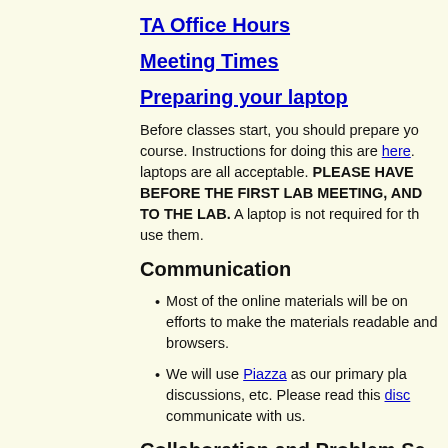TA Office Hours
Meeting Times
Preparing your laptop
Before classes start, you should prepare your laptop for this course. Instructions for doing this are here. Windows, Mac, and Linux laptops are all acceptable. PLEASE HAVE THIS DONE BEFORE THE FIRST LAB MEETING, AND BRING YOUR LAPTOP TO THE LAB. A laptop is not required for the course, but we strongly encourage use them.
Communication
Most of the online materials will be on the course website. We make efforts to make the materials readable on many different screen sizes and browsers.
We will use Piazza as our primary platform for announcements, discussions, etc. Please read this discussion about the best way to communicate with us.
Collaboration and Problem Sets